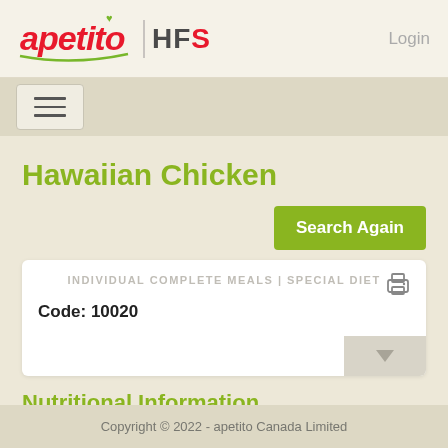apetito | HFS   Login
[Figure (screenshot): Navigation hamburger menu button]
Hawaiian Chicken
Search Again
INDIVIDUAL COMPLETE MEALS | SPECIAL DIET
Code: 10020
Nutritional Information
Copyright © 2022 - apetito Canada Limited